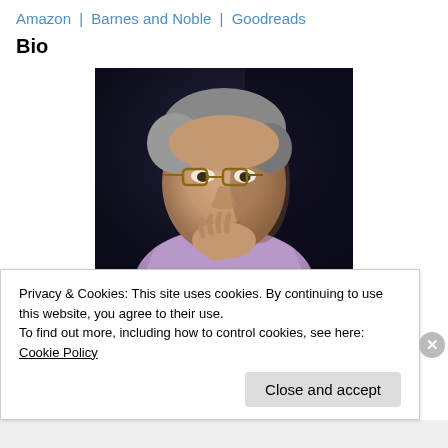Amazon | Barnes and Noble | Goodreads
Bio
[Figure (photo): Professional headshot of a middle-aged man with gray hair, glasses, and a thoughtful pose with his hand near his chin, wearing a light purple shirt, dark background.]
Privacy & Cookies: This site uses cookies. By continuing to use this website, you agree to their use.
To find out more, including how to control cookies, see here: Cookie Policy
Close and accept